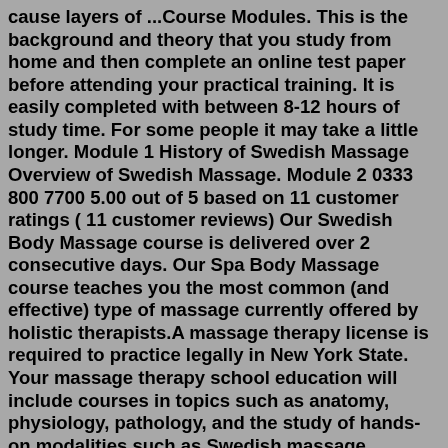cause layers of ...Course Modules. This is the background and theory that you study from home and then complete an online test paper before attending your practical training. It is easily completed with between 8-12 hours of study time. For some people it may take a little longer. Module 1 History of Swedish Massage Overview of Swedish Massage. Module 2 0333 800 7700 5.00 out of 5 based on 11 customer ratings ( 11 customer reviews) Our Swedish Body Massage course is delivered over 2 consecutive days. Our Spa Body Massage course teaches you the most common (and effective) type of massage currently offered by holistic therapists.A massage therapy license is required to practice legally in New York State. Your massage therapy school education will include courses in topics such as anatomy, physiology, pathology, and the study of hands-on modalities such as Swedish massage, neuromuscular therapy, trigger points, Thai massage, tui na, and more.Swedish massage is the best known and most widely used form of western style massage...